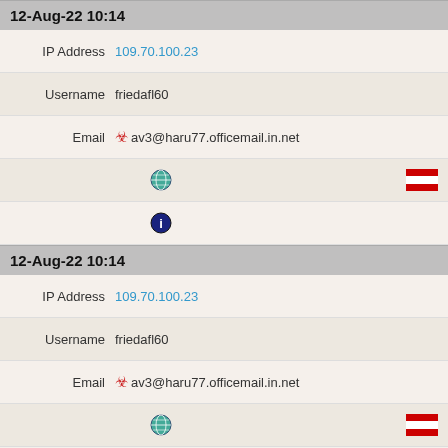12-Aug-22 10:14
IP Address  109.70.100.23
Username  friedafl60
Email  av3@haru77.officemail.in.net
[Figure (other): Globe icon and Austrian flag]
[Figure (other): Info icon]
12-Aug-22 10:14
IP Address  109.70.100.23
Username  friedafl60
Email  av3@haru77.officemail.in.net
[Figure (other): Globe icon and Austrian flag]
[Figure (other): Info icon]
12-Aug-22 10:14
IP Address  109.70.100.23
Username  friedafl60
Email  av3@haru77.officemail.in.net
[Figure (other): Globe icon and Austrian flag]